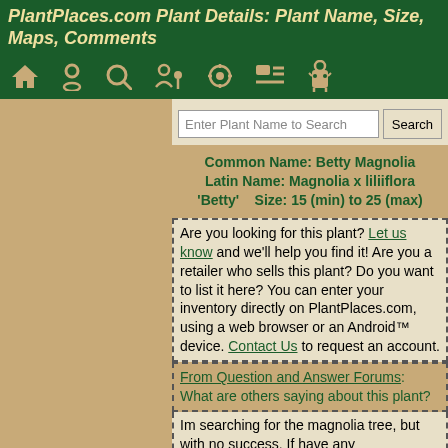PlantPlaces.com Plant Details: Plant Name, Size, Maps, Comments
[Figure (infographic): Navigation icon bar with 7 icons: house, map pin, circle/search, person with pin, flower/settings, list, android robot — all in tan color on dark green background]
Enter Plant Name to Search  Search
Common Name: Betty Magnolia    Latin Name: Magnolia x liliiflora 'Betty'     Size: 15 (min) to 25 (max)
Are you looking for this plant? Let us know and we'll help you find it! Are you a retailer who sells this plant? Do you want to list it here? You can enter your inventory directly on PlantPlaces.com, using a web browser or an Android™ device. Contact Us to request an account.
From Question and Answer Forums: What are others saying about this plant?
Im searching for the magnolia tree, but with no success. If have any